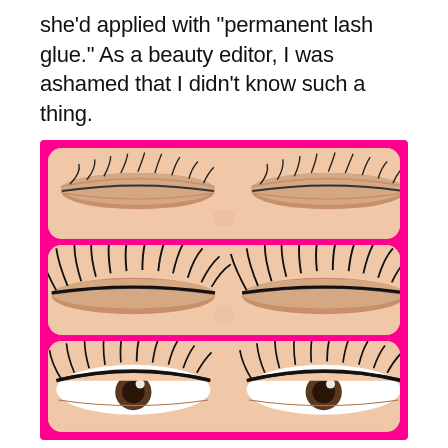she'd applied with "permanent lash glue." As a beauty editor, I was ashamed that I didn't know such a thing.
[Figure (photo): Three-panel vertical collage with a hot pink border showing close-up photos of a person's eyes: top panel shows closed eyes with natural lashes, middle panel shows closed eyes with dramatic volumized false lash extensions, bottom panel shows open eyes with full lashes applied.]